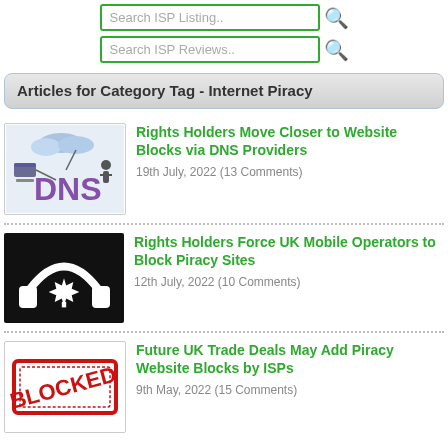Search ISP Listing..
Search ISP Reviews..
Articles for Category Tag - Internet Piracy
[Figure (illustration): DNS network diagram with cloud and server icons, purple DNS text]
Rights Holders Move Closer to Website Blocks via DNS Providers
19th July, 2022 (13 Comments)
[Figure (illustration): Black and white icon of headphones with maple leaf, on black background]
Rights Holders Force UK Mobile Operators to Block Piracy Sites
12th July, 2022 (10 Comments)
[Figure (illustration): Red BLOCKED stamp on white background]
Future UK Trade Deals May Add Piracy Website Blocks by ISPs
9th May, 2022 (15 Comments)